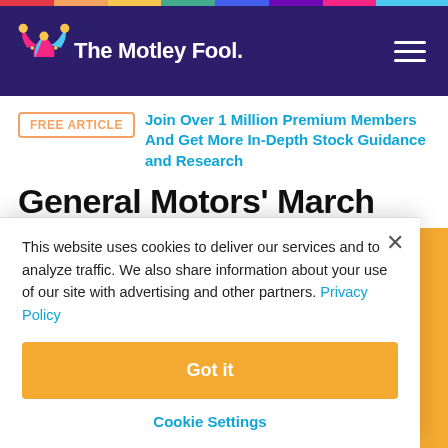The Motley Fool
FREE ARTICLE  Join Over 1 Million Premium Members And Get More In-Depth Stock Guidance and Research
General Motors' March Sales Surge in China but Can't Offset a Slow Start
This website uses cookies to deliver our services and to analyze traffic. We also share information about your use of our site with advertising and other partners. Privacy Policy
Got it
Cookie Settings